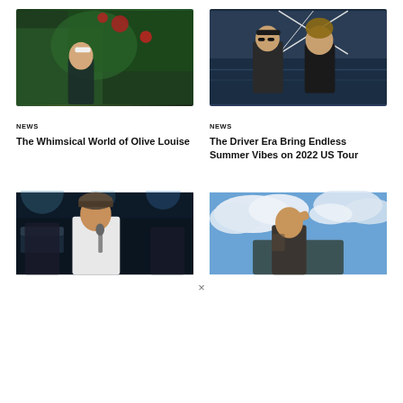[Figure (photo): Young woman with headband sitting among green foliage and red flowers in a garden setting]
[Figure (photo): Two people on a sailboat, one wearing sunglasses, on open water on a sunny day]
NEWS
NEWS
The Whimsical World of Olive Louise
The Driver Era Bring Endless Summer Vibes on 2022 US Tour
[Figure (photo): Singer performing on stage with microphone, wearing a cap, with concert lighting and band members in background]
[Figure (photo): Person sitting under a blue sky with clouds, hand to head, in an outdoor setting]
×